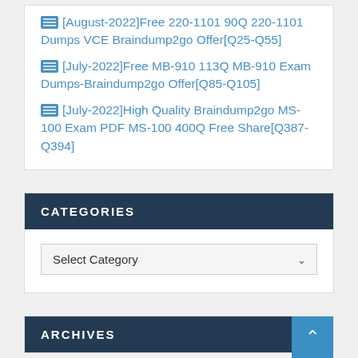[August-2022]Free 220-1101 90Q 220-1101 Dumps VCE Braindump2go Offer[Q25-Q55]
[July-2022]Free MB-910 113Q MB-910 Exam Dumps-Braindump2go Offer[Q85-Q105]
[July-2022]High Quality Braindump2go MS-100 Exam PDF MS-100 400Q Free Share[Q387-Q394]
CATEGORIES
Select Category
ARCHIVES